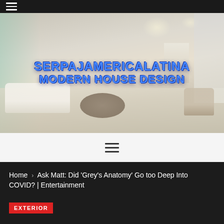≡ (hamburger menu)
[Figure (photo): Hero image of a modern luxury living room interior with white sectional sofa, round wooden coffee table, armchair, staircase in background, floor-to-ceiling windows, and recessed ceiling lights. Overlaid with text 'SERPAJAMERICALATINA MODERN HOUSE DESIGN' in blue bold font.]
SERPAJAMERICALATINA MODERN HOUSE DESIGN
[Figure (other): Hamburger menu icon (three horizontal lines) in center of light gray navigation bar]
Home › Ask Matt: Did 'Grey's Anatomy' Go too Deep Into COVID? | Entertainment
EXTERIOR